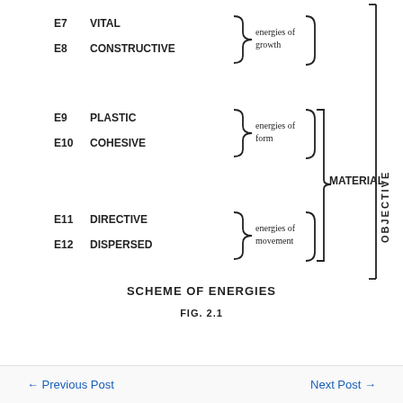[Figure (schematic): Scheme of Energies diagram showing E7 VITAL, E8 CONSTRUCTIVE grouped as energies of growth; E9 PLASTIC, E10 COHESIVE grouped as energies of form; E11 DIRECTIVE, E12 DISPERSED grouped as energies of movement. The three groups are then bracketed together as MATERIAL, which along with content above the visible area forms the OBJECTIVE bracket on the right.]
SCHEME OF ENERGIES
FIG. 2.1
← Previous Post    Next Post →